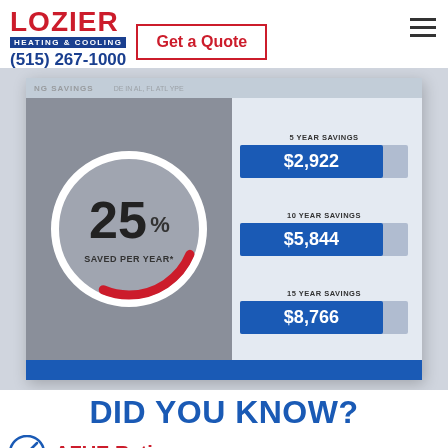LOZIER HEATING & COOLING | (515) 267-1000 | Get a Quote
[Figure (infographic): Savings infographic showing 25% saved per year with 5-year savings $2,922, 10-year savings $5,844, 15-year savings $8,766]
DID YOU KNOW?
AFUE Rating